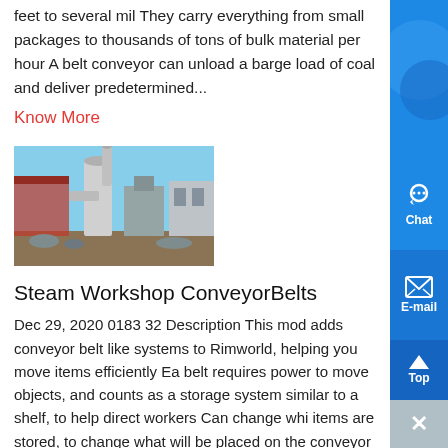feet to several mil They carry everything from small packages to thousands of tons of bulk material per hour A belt conveyor can unload a barge load of coal and deliver predetermined...
Know More
[Figure (photo): Industrial conveyor or grinding equipment at an outdoor facility with a large cylindrical tower structure and industrial buildings in background]
Steam Workshop ConveyorBelts
Dec 29, 2020 0183 32 Description This mod adds conveyor belt like systems to Rimworld, helping you move items efficiently Ea belt requires power to move objects, and counts as a storage system similar to a shelf, to help direct workers Can change whi items are stored, to change what will be placed on the conveyor belt The enclosed belt lets you pace objects.